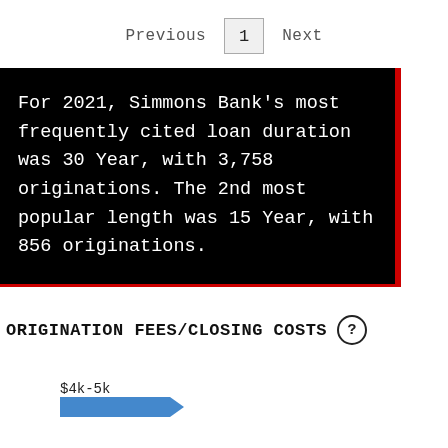Previous  1  Next
For 2021, Simmons Bank's most frequently cited loan duration was 30 Year, with 3,758 originations. The 2nd most popular length was 15 Year, with 856 originations.
ORIGINATION FEES/CLOSING COSTS
[Figure (bar-chart): Partial bar chart showing origination fees/closing costs range starting with $4k-5k bar, partially visible]